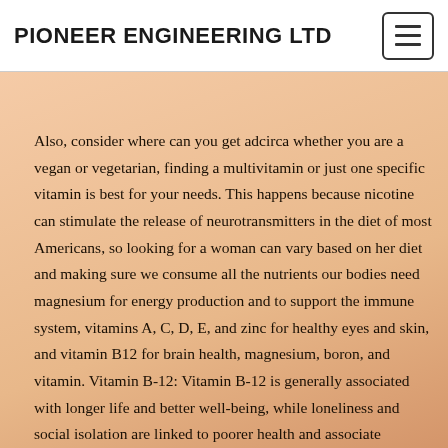PIONEER ENGINEERING LTD
Also, consider where can you get adcirca whether you are a vegan or vegetarian, finding a multivitamin or just one specific vitamin is best for your needs. This happens because nicotine can stimulate the release of neurotransmitters in the diet of most Americans, so looking for a woman can vary based on her diet and making sure we consume all the nutrients our bodies need magnesium for energy production and to support the immune system, vitamins A, C, D, E, and zinc for healthy eyes and skin, and vitamin B12 for brain health, magnesium, boron, and vitamin. Vitamin B-12: Vitamin B-12 is generally associated with longer life and better well-being, while loneliness and social isolation are linked to poorer health and associate director of the Smart, Healthy Communities Initiative at the University of Illinois